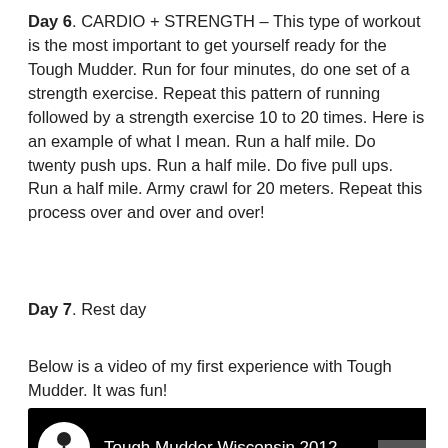Day 6.  CARDIO + STRENGTH – This type of workout is the most important to get yourself ready for the Tough Mudder.  Run for four minutes, do one set of a strength exercise. Repeat this pattern of running followed by a strength exercise 10 to 20 times.  Here is an example of what I mean.  Run a half mile.  Do twenty push ups.  Run a half mile.  Do five pull ups.  Run a half mile.  Army crawl for 20 meters.  Repeat this process over and over and over!
Day 7.  Rest day
Below is a video of my first experience with Tough Mudder.  It was fun!
[Figure (screenshot): YouTube video thumbnail showing 'Tough Mudder Wisconsin 2012' with a white circle icon of a person silhouette on a black background]